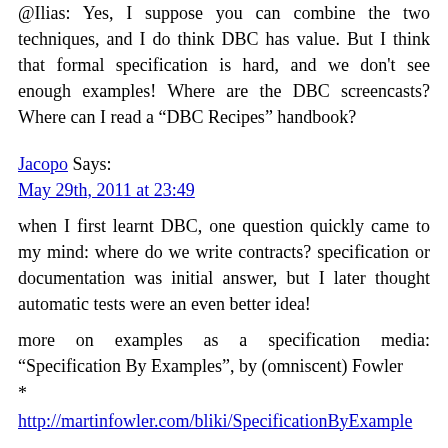@Ilias: Yes, I suppose you can combine the two techniques, and I do think DBC has value. But I think that formal specification is hard, and we don't see enough examples! Where are the DBC screencasts? Where can I read a “DBC Recipes” handbook?
Jacopo Says:
May 29th, 2011 at 23:49
when I first learnt DBC, one question quickly came to my mind: where do we write contracts? specification or documentation was initial answer, but I later thought automatic tests were an even better idea!
more on examples as a specification media: “Specification By Examples”, by (omniscent) Fowler
*
http://martinfowler.com/bliki/SpecificationByExample